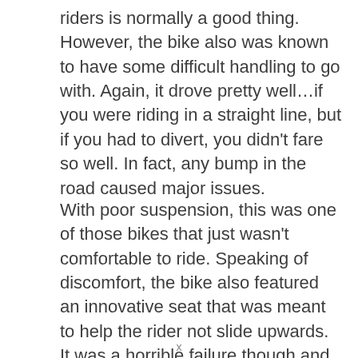riders is normally a good thing. However, the bike also was known to have some difficult handling to go with. Again, it drove pretty well…if you were riding in a straight line, but if you had to divert, you didn't fare so well. In fact, any bump in the road caused major issues.
With poor suspension, this was one of those bikes that just wasn't comfortable to ride. Speaking of discomfort, the bike also featured an innovative seat that was meant to help the rider not slide upwards. It was a horrible failure though and ended up being more uncomfortable than anything out there.
x